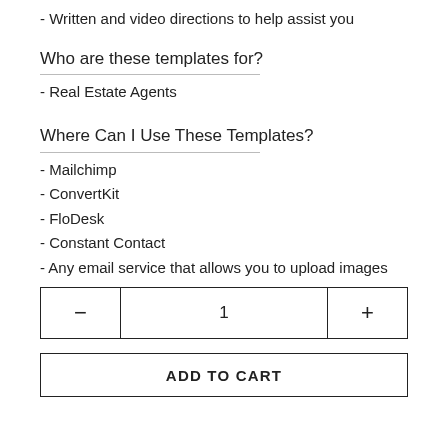- Written and video directions to help assist you
Who are these templates for?
- Real Estate Agents
Where Can I Use These Templates?
- Mailchimp
- ConvertKit
- FloDesk
- Constant Contact
- Any email service that allows you to upload images
1
ADD TO CART